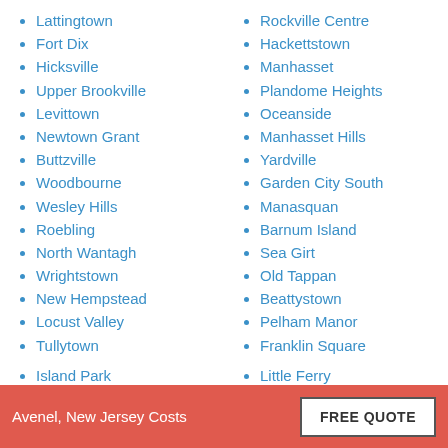Lattingtown
Fort Dix
Hicksville
Upper Brookville
Levittown
Newtown Grant
Buttzville
Woodbourne
Wesley Hills
Roebling
North Wantagh
Wrightstown
New Hempstead
Locust Valley
Tullytown
Island Park
Rockville Centre
Hackettstown
Manhasset
Plandome Heights
Oceanside
Manhasset Hills
Yardville
Garden City South
Manasquan
Barnum Island
Sea Girt
Old Tappan
Beattystown
Pelham Manor
Franklin Square
Little Ferry
Avenel, New Jersey Costs   FREE QUOTE